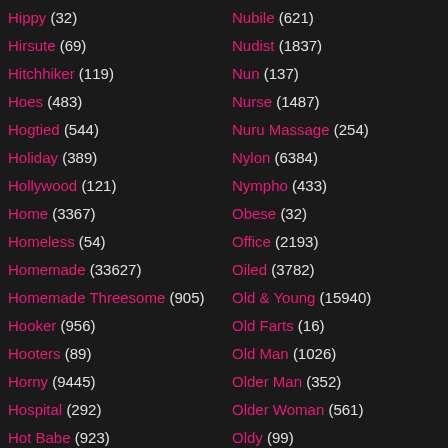Hippy (32)
Hirsute (69)
Hitchhiker (119)
Hoes (483)
Hogtied (544)
Holiday (389)
Hollywood (121)
Home (3367)
Homeless (54)
Homemade (33627)
Homemade Threesome (905)
Hooker (956)
Hooters (89)
Horny (9445)
Hospital (292)
Hot Babe (923)
Nubile (621)
Nudist (1837)
Nun (137)
Nurse (1487)
Nuru Massage (254)
Nylon (6384)
Nympho (433)
Obese (32)
Office (2193)
Oiled (3782)
Old & Young (15940)
Old Farts (16)
Old Man (1026)
Older Man (352)
Older Woman (561)
Oldy (99)